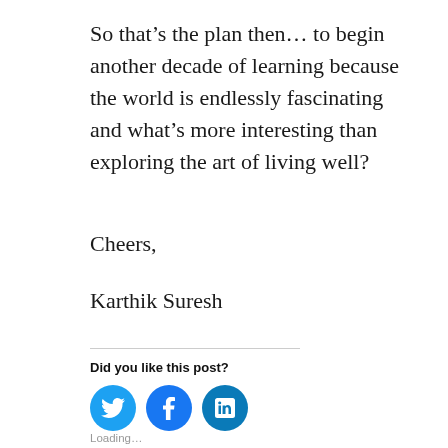So that’s the plan then… to begin another decade of learning because the world is endlessly fascinating and what’s more interesting than exploring the art of living well?
Cheers,
Karthik Suresh
Did you like this post?
[Figure (infographic): Three circular social media share buttons: Twitter (bird icon, blue), Facebook (f icon, blue), LinkedIn (in icon, teal-blue)]
Loading…